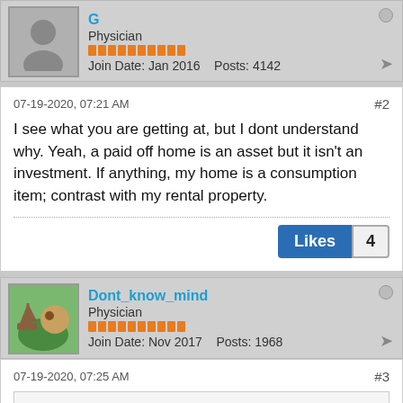G
Physician
Join Date: Jan 2016   Posts: 4142
07-19-2020, 07:21 AM
#2
I see what you are getting at, but I dont understand why. Yeah, a paid off home is an asset but it isn't an investment. If anything, my home is a consumption item; contrast with my rental property.
Likes 4
Dont_know_mind
Physician
Join Date: Nov 2017   Posts: 1968
07-19-2020, 07:25 AM
#3
Originally posted by G